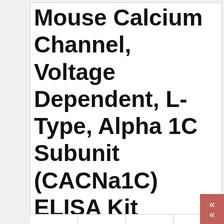Mouse Calcium Channel, Voltage Dependent, L-Type, Alpha 1C Subunit (CACNa1C) ELISA Kit